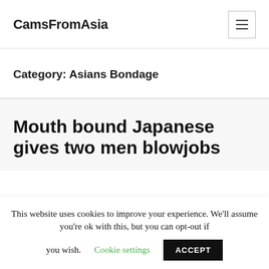CamsFromAsia
Category: Asians Bondage
Mouth bound Japanese gives two men blowjobs
This website uses cookies to improve your experience. We'll assume you're ok with this, but you can opt-out if you wish. Cookie settings ACCEPT